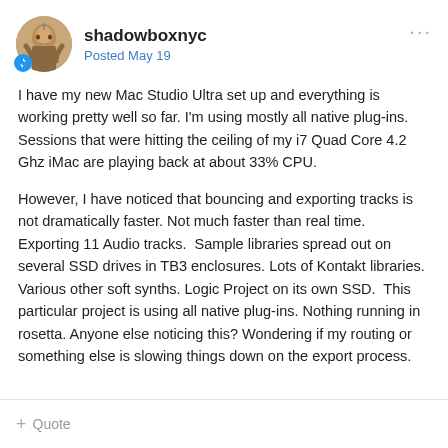shadowboxnyc — Posted May 19
I have my new Mac Studio Ultra set up and everything is working pretty well so far. I'm using mostly all native plug-ins. Sessions that were hitting the ceiling of my i7 Quad Core 4.2 Ghz iMac are playing back at about 33% CPU.
However, I have noticed that bouncing and exporting tracks is not dramatically faster. Not much faster than real time. Exporting 11 Audio tracks.  Sample libraries spread out on several SSD drives in TB3 enclosures. Lots of Kontakt libraries. Various other soft synths. Logic Project on its own SSD.  This particular project is using all native plug-ins. Nothing running in rosetta. Anyone else noticing this? Wondering if my routing or something else is slowing things down on the export process.